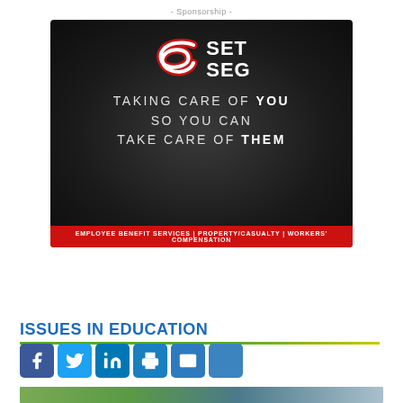- Sponsorship -
[Figure (illustration): SET SEG advertisement on dark background. Logo with red S and white SET SEG text. Tagline: TAKING CARE OF YOU SO YOU CAN TAKE CARE OF THEM. Footer: EMPLOYEE BENEFIT SERVICES | PROPERTY/CASUALTY | WORKERS' COMPENSATION]
ISSUES IN EDUCATION
[Figure (infographic): Social media sharing bar with Facebook, Twitter, LinkedIn, Print, Email, and Plus icons]
[Figure (photo): Group photo of people outdoors at an event]